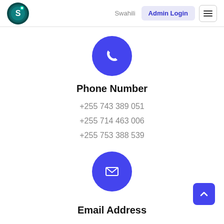Swahili  Admin Login
[Figure (illustration): Blue circle with white phone/call icon]
Phone Number
+255 743 389 051
+255 714 463 006
+255 753 388 539
[Figure (illustration): Blue circle with white envelope/email icon]
Email Address